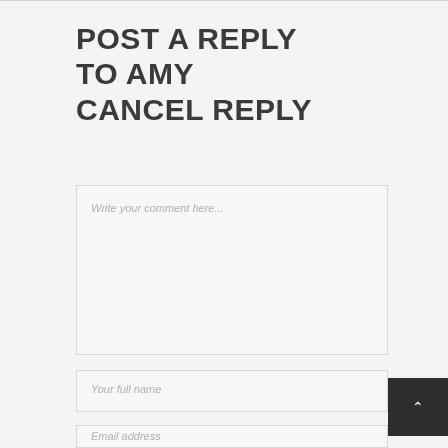POST A REPLY TO AMY CANCEL REPLY
Write your comment here...
Your full name
Email address